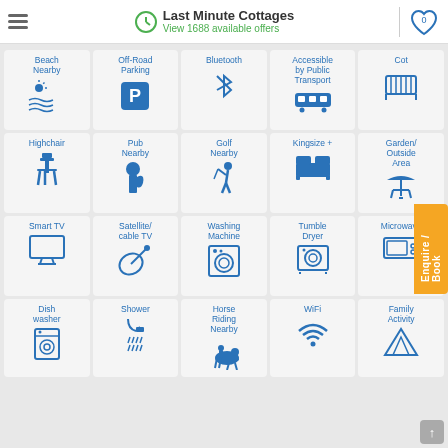Last Minute Cottages – View 1688 available offers
[Figure (infographic): Grid of amenity icons for cottage rental listing: Beach Nearby, Off-Road Parking, Bluetooth, Accessible by Public Transport, Cot, Highchair, Pub Nearby, Golf Nearby, Kingsize+, Garden/Outside Area, Smart TV, Satellite/cable TV, Washing Machine, Tumble Dryer, Microwave, Dishwasher, Shower, Horse Riding Nearby, WiFi, Family Activity]